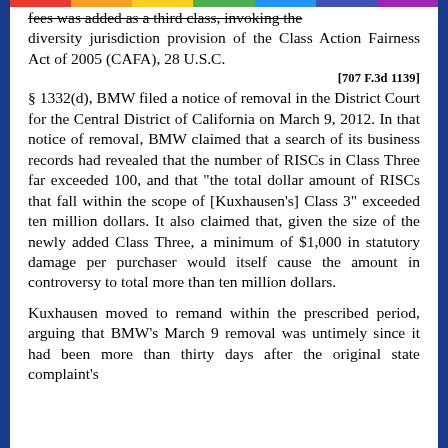fees was added as a third class, invoking the diversity jurisdiction provision of the Class Action Fairness Act of 2005 (CAFA), 28 U.S.C.
[707 F.3d 1139]
§ 1332(d), BMW filed a notice of removal in the District Court for the Central District of California on March 9, 2012. In that notice of removal, BMW claimed that a search of its business records had revealed that the number of RISCs in Class Three far exceeded 100, and that "the total dollar amount of RISCs that fall within the scope of [Kuxhausen's] Class 3" exceeded ten million dollars. It also claimed that, given the size of the newly added Class Three, a minimum of $1,000 in statutory damage per purchaser would itself cause the amount in controversy to total more than ten million dollars.
Kuxhausen moved to remand within the prescribed period, arguing that BMW's March 9 removal was untimely since it had been more than thirty days after the original state complaint's